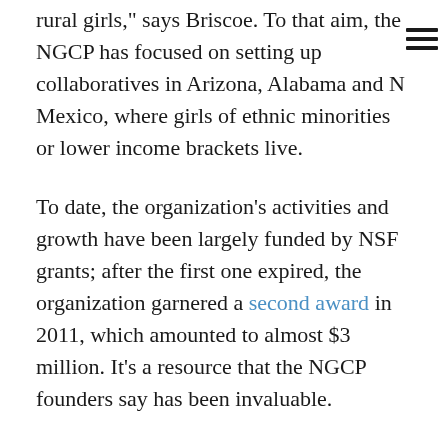rural girls," says Briscoe. To that aim, the NGCP has focused on setting up collaboratives in Arizona, Alabama and New Mexico, where girls of ethnic minorities or lower income brackets live.
To date, the organization's activities and growth have been largely funded by NSF grants; after the first one expired, the organization garnered a second award in 2011, which amounted to almost $3 million. It's a resource that the NGCP founders say has been invaluable.
Going forward, however, they are looking at other funding resources, so that NGCP can act for girls in STEM beyond the confines of goals specifically set in each grant.
Peterson says the prospect of expanding the organization's offerings is thrilling, and she hopes it will